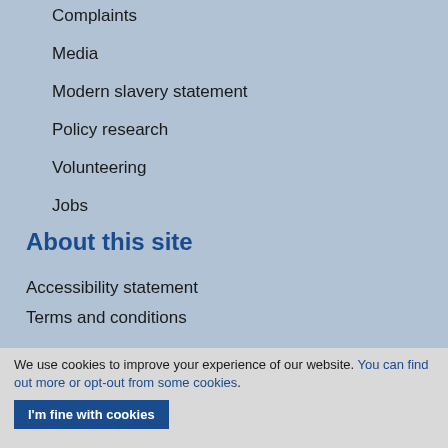Complaints
Media
Modern slavery statement
Policy research
Volunteering
Jobs
About this site
Accessibility statement
Terms and conditions
We use cookies to improve your experience of our website. You can find out more or opt-out from some cookies.
I'm fine with cookies